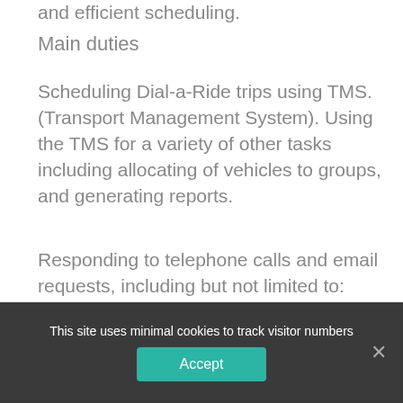and efficient scheduling.
Main duties
Scheduling Dial-a-Ride trips using TMS. (Transport Management System). Using the TMS for a variety of other tasks including allocating of vehicles to groups, and generating reports.
Responding to telephone calls and email requests, including but not limited to: booking requests, membership enquiries and general enquiries.
Coll...
This site uses minimal cookies to track visitor numbers